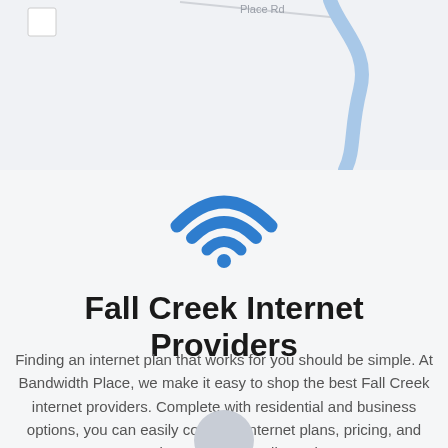[Figure (map): Partial map background showing road labeled 'Place Rd' and a blue water feature (river or stream) on a light gray background]
[Figure (illustration): Blue WiFi signal icon with three arcs and a dot at the bottom center]
Fall Creek Internet Providers
Finding an internet plan that works for you should be simple. At Bandwidth Place, we make it easy to shop the best Fall Creek internet providers. Complete with residential and business options, you can easily compare internet plans, pricing, and speeds available in Fall Creek.